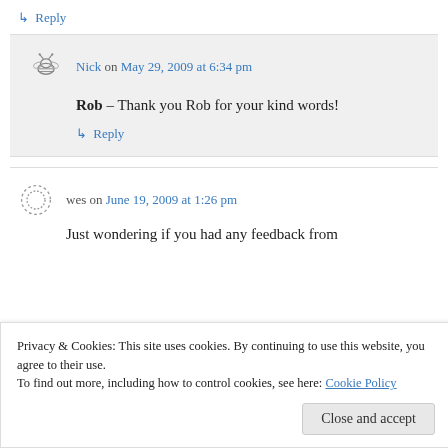↳ Reply
Nick on May 29, 2009 at 6:34 pm
Rob – Thank you Rob for your kind words!
↳ Reply
wes on June 19, 2009 at 1:26 pm
Just wondering if you had any feedback from
Privacy & Cookies: This site uses cookies. By continuing to use this website, you agree to their use.
To find out more, including how to control cookies, see here: Cookie Policy
Close and accept